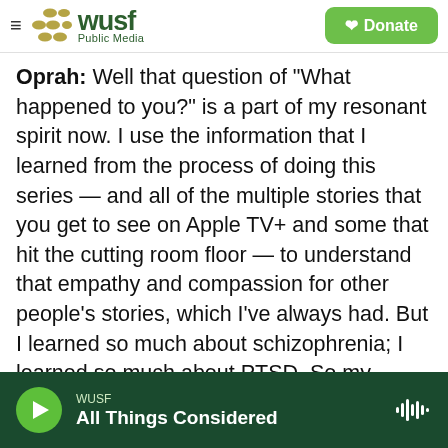WUSF Public Media | Donate
Oprah: Well that question of 'What happened to you?' is a part of my resonant spirit now. I use the information that I learned from the process of doing this series — and all of the multiple stories that you get to see on Apple TV+ and some that hit the cutting room floor — to understand that empathy and compassion for other people's stories, which I've always had. But I learned so much about schizophrenia; I learned so much about PTSD. So my process of understanding people and being more empathetic and open to their vulnerabilities will fuel the rest of the work that I do.
WUSF — All Things Considered